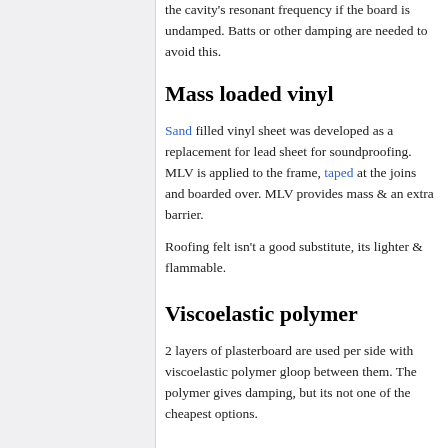the cavity's resonant frequency if the board is undamped. Batts or other damping are needed to avoid this.
Mass loaded vinyl
Sand filled vinyl sheet was developed as a replacement for lead sheet for soundproofing. MLV is applied to the frame, taped at the joins and boarded over. MLV provides mass & an extra barrier.
Roofing felt isn't a good substitute, its lighter & flammable.
Viscoelastic polymer
2 layers of plasterboard are used per side with viscoelastic polymer gloop between them. The polymer gives damping, but its not one of the cheapest options.